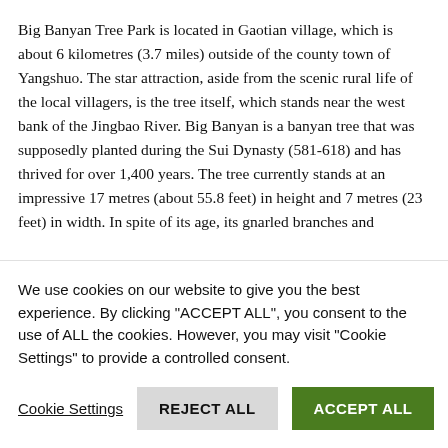Big Banyan Tree Park is located in Gaotian village, which is about 6 kilometres (3.7 miles) outside of the county town of Yangshuo. The star attraction, aside from the scenic rural life of the local villagers, is the tree itself, which stands near the west bank of the Jingbao River. Big Banyan is a banyan tree that was supposedly planted during the Sui Dynasty (581-618) and has thrived for over 1,400 years. The tree currently stands at an impressive 17 metres (about 55.8 feet) in height and 7 metres (23 feet) in width. In spite of its age, its gnarled branches and
We use cookies on our website to give you the best experience. By clicking "ACCEPT ALL", you consent to the use of ALL the cookies. However, you may visit "Cookie Settings" to provide a controlled consent.
Cookie Settings | REJECT ALL | ACCEPT ALL